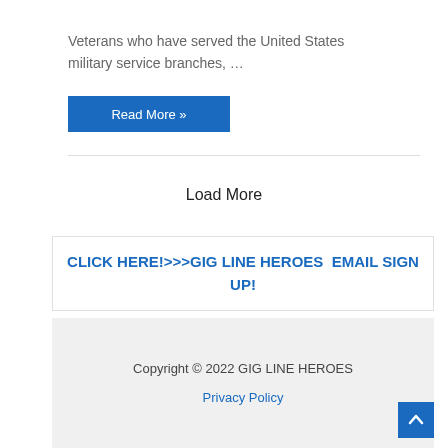Veterans who have served the United States military service branches, …
Read More »
Load More
CLICK HERE!>>>GIG LINE HEROES  EMAIL SIGN UP!
Copyright © 2022 GIG LINE HEROES
Privacy Policy